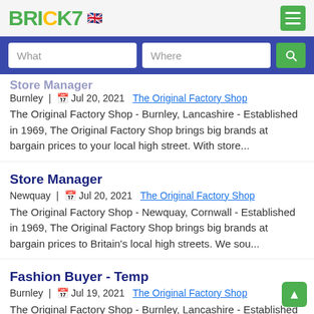BRICK7 [UK flag]
What | Where [search button]
Burnley | Jul 20, 2021  The Original Factory Shop
The Original Factory Shop - Burnley, Lancashire - Established in 1969, The Original Factory Shop brings big brands at bargain prices to your local high street. With store...
Store Manager
Newquay | Jul 20, 2021  The Original Factory Shop
The Original Factory Shop - Newquay, Cornwall - Established in 1969, The Original Factory Shop brings big brands at bargain prices to Britain's local high streets. We sou...
Fashion Buyer - Temp
Burnley | Jul 19, 2021  The Original Factory Shop
The Original Factory Shop - Burnley, Lancashire - Established in 1969, The Original Factory Shop brings big brands at bargain prices to your local high street. With sto...